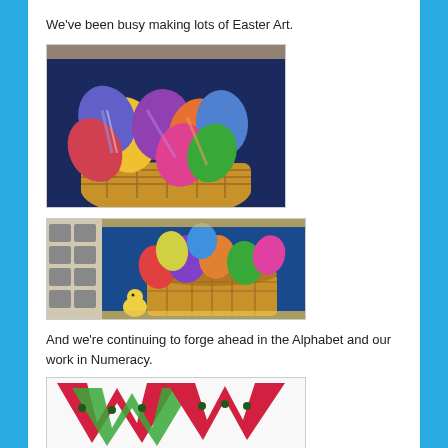We've been busy making lots of Easter Art.
[Figure (photo): Children's Easter art: colorful painted eggs in a woven basket, displayed against a dark blue background]
[Figure (photo): Classroom bulletin board display of Easter egg art in a large basket with chicks, photos of children on the side]
And we're continuing to forge ahead in the Alphabet and our work in Numeracy.
[Figure (photo): Large red and green letter 'W' art/craft display on a white background]